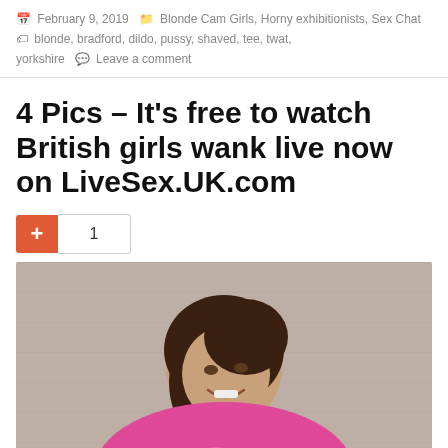February 9, 2019  Blonde Cam Girls, Horny exhibitionists, Sex Chat  blonde, bradford, dildo, pussy, shaved, tee, twat, yorkshire  Leave a comment
4 Pics – It's free to watch British girls wank live now on LiveSex.UK.com
[Figure (other): Social sharing button showing a red plus (+) button and a count box showing '1']
[Figure (photo): Photo of a young brunette woman smiling, wearing a pink t-shirt, leaning against a grey textured wall]